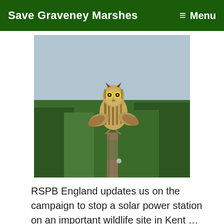Save Graveney Marshes  ≡ Menu
[Figure (photo): A short-eared owl perched on top of a weathered wooden post in a green marshland, photographed against a grey-blue sky with green grass in the background.]
RSPB England updates us on the campaign to stop a solar power station on an important wildlife site in Kent …  Time is running out for us all to save an un-spoilt landscape in North …